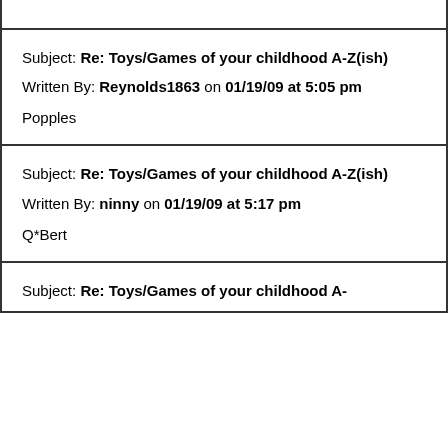Page header (partial, cut off at top)
Subject: Re: Toys/Games of your childhood A-Z(ish)
Written By: Reynolds1863 on 01/19/09 at 5:05 pm

Popples
Subject: Re: Toys/Games of your childhood A-Z(ish)
Written By: ninny on 01/19/09 at 5:17 pm

Q*Bert
Subject: Re: Toys/Games of your childhood A-